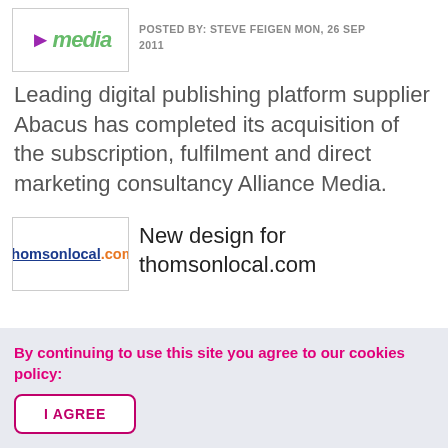[Figure (logo): Alliance Media logo with purple arrow and green italic text]
POSTED BY: STEVE FEIGEN MON, 26 SEP 2011
Leading digital publishing platform supplier Abacus has completed its acquisition of the subscription, fulfilment and direct marketing consultancy Alliance Media.
[Figure (logo): thomsonlocal.com logo with blue underlined text and orange .com]
New design for thomsonlocal.com
By continuing to use this site you agree to our cookies policy: